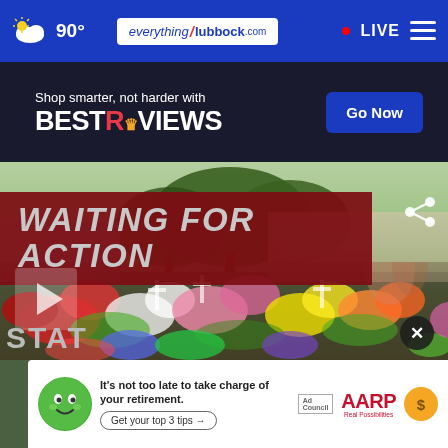90° everything/lubbock.com • LIVE
[Figure (screenshot): Navigation bar with weather (90°), everythinglubbock.com logo, LIVE indicator, and hamburger menu on blue background]
[Figure (screenshot): Advertisement banner: 'Shop smarter, not harder with BESTREVIEWS' with 'Go Now' button on dark navy background]
WAITING FOR ACTION
[Figure (photo): Memorial site with flowers, crosses, photos and tributes. Share icon visible top right. Play button on left side.]
[Figure (screenshot): AARP advertisement: 'It’s not too late to take charge of your retirement. Get your top 3 tips →' with Ad Council logo and AARP logo. Green mascot emoji visible.]
STAT